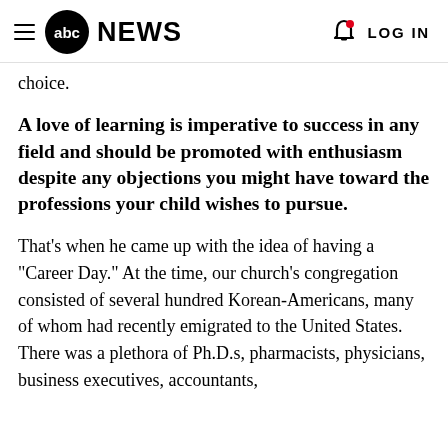abc NEWS  LOG IN
choice.
A love of learning is imperative to success in any field and should be promoted with enthusiasm despite any objections you might have toward the professions your child wishes to pursue.
That's when he came up with the idea of having a "Career Day." At the time, our church's congregation consisted of several hundred Korean-Americans, many of whom had recently emigrated to the United States. There was a plethora of Ph.D.s, pharmacists, physicians, business executives, accountants,